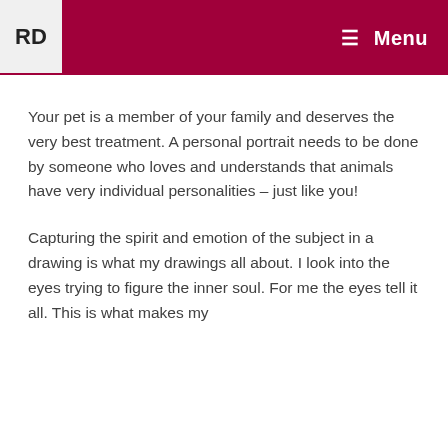RD  Menu
Your pet is a member of your family and deserves the very best treatment.  A personal portrait needs to be done by someone who loves and understands that animals have very individual personalities – just like you!
Capturing the spirit and emotion of the subject in a drawing is what my drawings all about. I look into the eyes trying to figure the inner soul. For me the eyes tell it all. This is what makes my